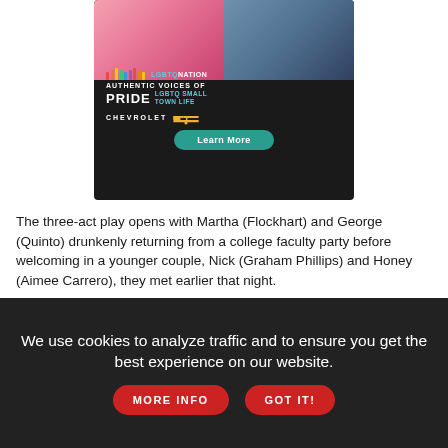[Figure (illustration): LGBTQ Nation advertisement banner with two people (a Black woman in pink and a man in navy), rainbow audio bars, text reading 'LGBTQ NATION AUTHENTIC VOICES OF PRIDE LGBTQ SMALL TOWN LIFE', Chevrolet logo, and a teal 'Learn More' button on dark background.]
The three-act play opens with Martha (Flockhart) and George (Quinto) drunkenly returning from a college faculty party before welcoming in a younger couple, Nick (Graham Phillips) and Honey (Aimee Carrero), they met earlier that night.
Martha is loud and crass, and George appears put-upon and without patience for his vulgar wife. There's a bit of love there, but it
We use cookies to analyze traffic and to ensure you get the best experience on our website.
MORE INFO
GOT IT!